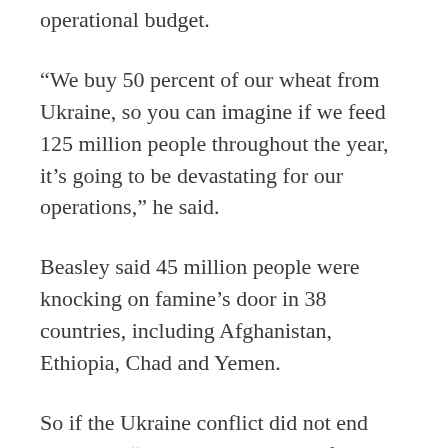operational budget.
“We buy 50 percent of our wheat from Ukraine, so you can imagine if we feed 125 million people throughout the year, it’s going to be devastating for our operations,” he said.
Beasley said 45 million people were knocking on famine’s door in 38 countries, including Afghanistan, Ethiopia, Chad and Yemen.
So if the Ukraine conflict did not end quickly it “will devastate global food security,” he said.
“If the war doesn’t end in the next 30 days we’re talking about an extra 35 to 40 million people